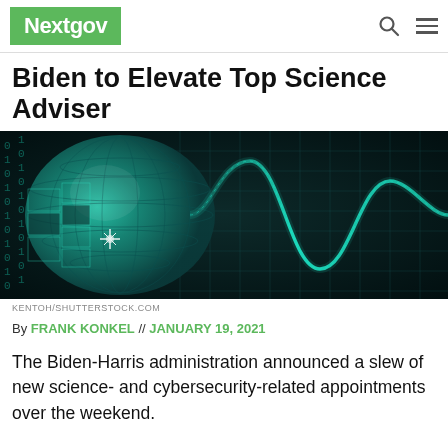Nextgov
Biden to Elevate Top Science Adviser
[Figure (photo): Digital technology concept image showing a globe with circuit board patterns and a glowing sine wave on a dark teal grid background.]
KENTOH/SHUTTERSTOCK.COM
By FRANK KONKEL // JANUARY 19, 2021
The Biden-Harris administration announced a slew of new science- and cybersecurity-related appointments over the weekend.